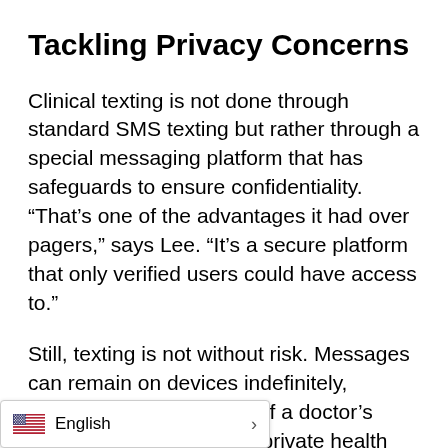Tackling Privacy Concerns
Clinical texting is not done through standard SMS texting but rather through a special messaging platform that has safeguards to ensure confidentiality. “That’s one of the advantages it had over pagers,” says Lee. “It’s a secure platform that only verified users could have access to.”
Still, texting is not without risk. Messages can remain on devices indefinitely, creating a major concern if a doctor’s phone is lost or stolen. If private health information falls into the wrong hands, it could lead to identity theft or public